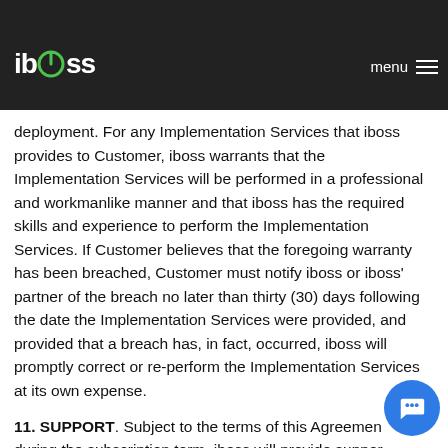that such deployment might not be completed at the end of the Implementation Services engagement, and that Implementation Services, including purchased Implementation Services, may be required to complete the
[Figure (logo): iboss logo in white on dark header bar]
deployment. For any Implementation Services that iboss provides to Customer, iboss warrants that the Implementation Services will be performed in a professional and workmanlike manner and that iboss has the required skills and experience to perform the Implementation Services. If Customer believes that the foregoing warranty has been breached, Customer must notify iboss or iboss' partner of the breach no later than thirty (30) days following the date the Implementation Services were provided, and provided that a breach has, in fact, occurred, iboss will promptly correct or re-perform the Implementation Services at its own expense.
11. SUPPORT. Subject to the terms of this Agreement, during the subscription term, iboss will provide support services to Customer as outlined in the terms of the